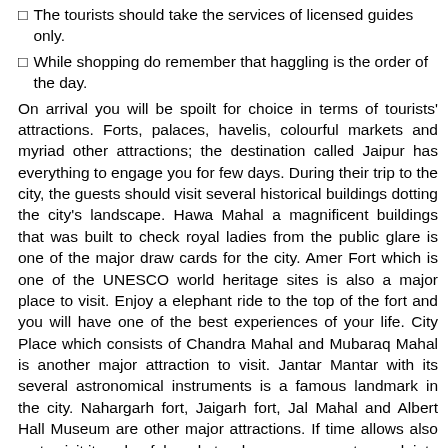The tourists should take the services of licensed guides only.
While shopping do remember that haggling is the order of the day.
On arrival you will be spoilt for choice in terms of tourists' attractions. Forts, palaces, havelis, colourful markets and myriad other attractions; the destination called Jaipur has everything to engage you for few days. During their trip to the city, the guests should visit several historical buildings dotting the city's landscape. Hawa Mahal a magnificent buildings that was built to check royal ladies from the public glare is one of the major draw cards for the city. Amer Fort which is one of the UNESCO world heritage sites is also a major place to visit. Enjoy a elephant ride to the top of the fort and you will have one of the best experiences of your life. City Place which consists of Chandra Mahal and Mubaraq Mahal is another major attraction to visit. Jantar Mantar with its several astronomical instruments is a famous landmark in the city. Nahargarh fort, Jaigarh fort, Jal Mahal and Albert Hall Museum are other major attractions. If time allows also go to visit its colourful markets where you can get a peek into the life of common people.